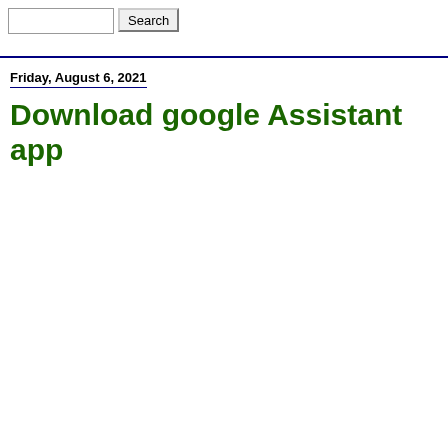Search
Friday, August 6, 2021
Download google Assistant app